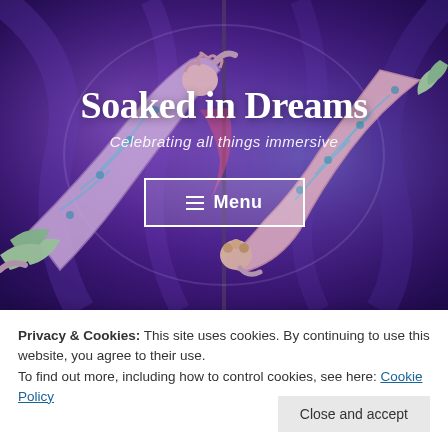[Figure (photo): Two aerial acrobat performers in colorful body-painted costumes posed in a circular hoop against a deep blue/purple background. The performers are intertwined in dramatic acrobatic poses.]
Soaked in Dreams
Celebrating all things immersive
≡ Menu
Privacy & Cookies: This site uses cookies. By continuing to use this website, you agree to their use.
To find out more, including how to control cookies, see here: Cookie Policy
Close and accept